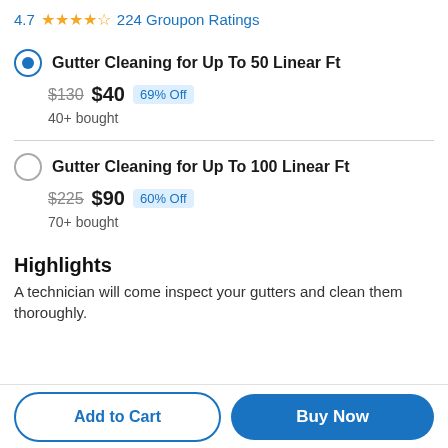4.7 ★★★★½ 224 Groupon Ratings
Gutter Cleaning for Up To 50 Linear Ft — $130 $40 69% Off — 40+ bought
Gutter Cleaning for Up To 100 Linear Ft — $225 $90 60% Off — 70+ bought
Highlights
A technician will come inspect your gutters and clean them thoroughly.